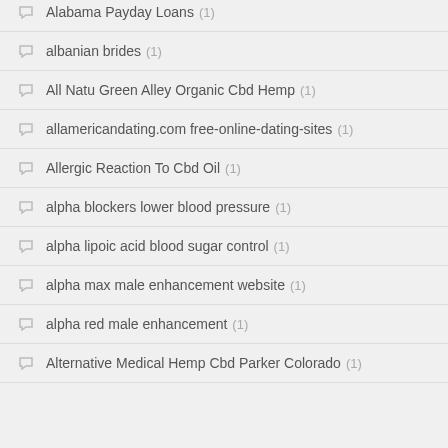Alabama Payday Loans (1)
albanian brides (1)
All Natu Green Alley Organic Cbd Hemp (1)
allamericandating.com free-online-dating-sites (1)
Allergic Reaction To Cbd Oil (1)
alpha blockers lower blood pressure (1)
alpha lipoic acid blood sugar control (1)
alpha max male enhancement website (1)
alpha red male enhancement (1)
Alternative Medical Hemp Cbd Parker Colorado (1)